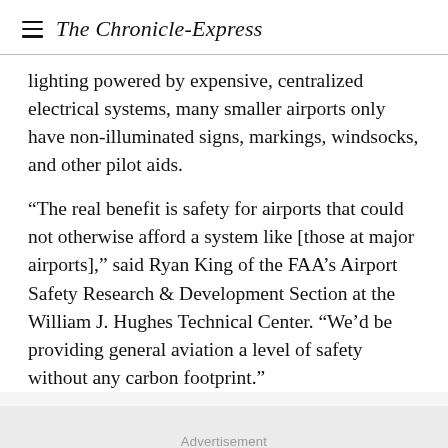The Chronicle-Express
lighting powered by expensive, centralized electrical systems, many smaller airports only have non-illuminated signs, markings, windsocks, and other pilot aids.
“The real benefit is safety for airports that could not otherwise afford a system like [those at major airports],” said Ryan King of the FAA’s Airport Safety Research & Development Section at the William J. Hughes Technical Center. “We’d be providing general aviation a level of safety without any carbon footprint.”
Advertisement